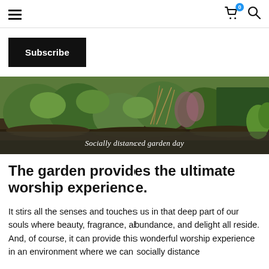Navigation header with hamburger menu, cart icon with badge 0, and search icon
Subscribe
[Figure (photo): A garden scene with various green plants, grasses and foliage in a lush outdoor setting with a caption overlay reading 'Socially distanced garden day']
Socially distanced garden day
The garden provides the ultimate worship experience.
It stirs all the senses and touches us in that deep part of our souls where beauty, fragrance, abundance, and delight all reside. And, of course, it can provide this wonderful worship experience in an environment where we can socially distance